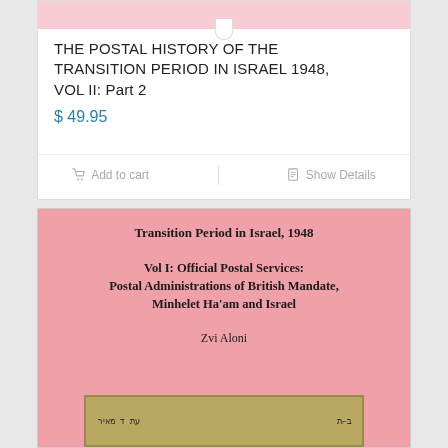THE POSTAL HISTORY OF THE TRANSITION PERIOD IN ISRAEL 1948, VOL II: Part 2
$ 49.95
Add to cart
Show Details
[Figure (photo): Pink book cover showing 'Transition Period in Israel, 1948' with subtitle 'Vol I: Official Postal Services: Postal Administrations of British Mandate, Minhelet Ha'am and Israel' by Zvi Aloni, with a partial stamp image at the bottom]
Transition Period in Israel, 1948
Vol I: Official Postal Services: Postal Administrations of British Mandate, Minhelet Ha'am and Israel
Zvi Aloni